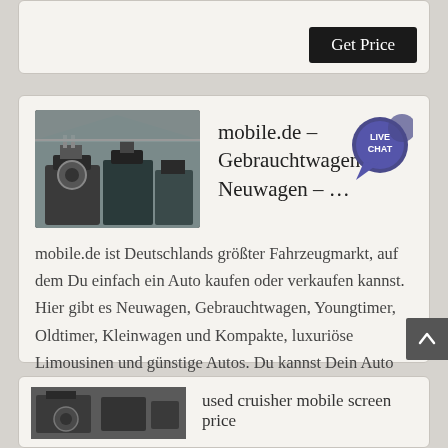[Figure (screenshot): Partial card at top with Get Price button visible]
Get Price
[Figure (screenshot): Card showing mobile.de listing with industrial machine thumbnail, Live Chat badge, German description text, and Get Price button]
mobile.de – Gebrauchtwagen und Neuwagen – …
mobile.de ist Deutschlands größter Fahrzeugmarkt, auf dem Du einfach ein Auto kaufen oder verkaufen kannst. Hier gibt es Neuwagen, Gebrauchtwagen, Youngtimer, Oldtimer, Kleinwagen und Kompakte, luxuriöse Limousinen und günstige Autos. Du kannst Dein Auto gebraucht verkaufen, Neuwagen- und Gebrauchtwagenverkäufer kontaktieren, Dich über ...
Get Price
[Figure (screenshot): Partial card at bottom showing thumbnail and title 'used cruisher mobile screen price']
used cruisher mobile screen price